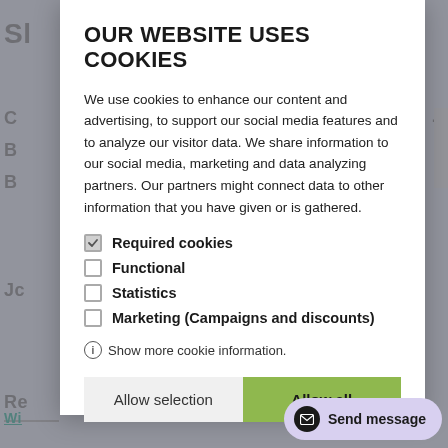OUR WEBSITE USES COOKIES
We use cookies to enhance our content and advertising, to support our social media features and to analyze our visitor data. We share information to our social media, marketing and data analyzing partners. Our partners might connect data to other information that you have given or is gathered.
Required cookies
Functional
Statistics
Marketing (Campaigns and discounts)
Show more cookie information.
Allow selection
Allow all
Send message